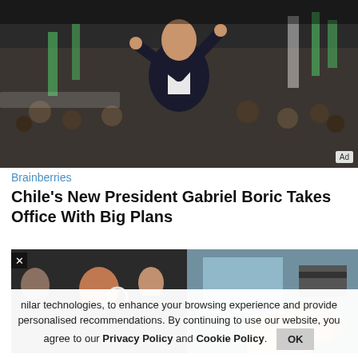[Figure (photo): Man in dark suit with arms raised at a large crowd rally, colorful flags in background]
Brainberries
Chile's New President Gabriel Boric Takes Office With Big Plans
[Figure (photo): Overlapping images: woman in black with hoop earrings in a crowd, and a hand inserting a card into an ATM]
...nilar technologies, to enhance your browsing experience and provide personalised recommendations. By continuing to use our website, you agree to our Privacy Policy and Cookie Policy.